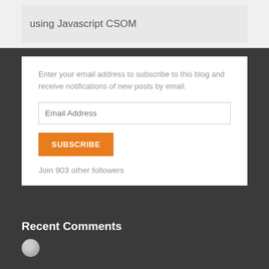using Javascript CSOM
Enter your email address to subscribe to this blog and receive notifications of new posts by email.
Email Address
SUBSCRIBE
Join 903 other followers
Recent Comments